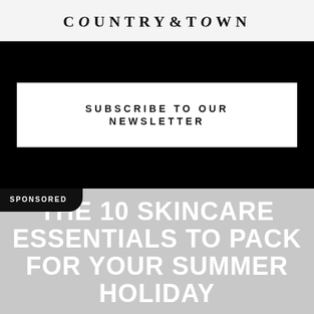COUNTRY & TOWN
[Figure (other): Black banner with white subscribe button reading SUBSCRIBE TO OUR NEWSLETTER]
THE 10 SKINCARE ESSENTIALS TO PACK FOR YOUR SUMMER HOLIDAY
SPONSORED
HEALTH & BEAUTY /  1 WEEK AGO